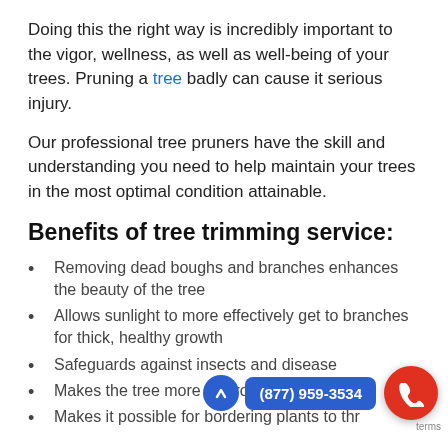Doing this the right way is incredibly important to the vigor, wellness, as well as well-being of your trees. Pruning a tree badly can cause it serious injury.
Our professional tree pruners have the skill and understanding you need to help maintain your trees in the most optimal condition attainable.
Benefits of tree trimming service:
Removing dead boughs and branches enhances the beauty of the tree
Allows sunlight to more effectively get to branches for thick, healthy growth
Safeguards against insects and disease
Makes the tree more vigoro…
Makes it possible for bordering plants to thr…